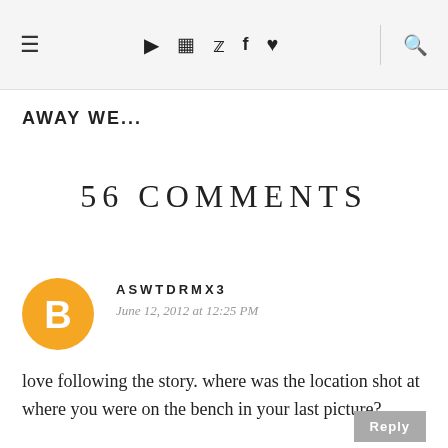≡  ▶  📷  🐦  f  ♥  🔍
AWAY WE...
56 COMMENTS
ASWTDRMX3
June 12, 2012 at 12:25 PM

love following the story. where was the location shot at where you were on the bench in your last picture?